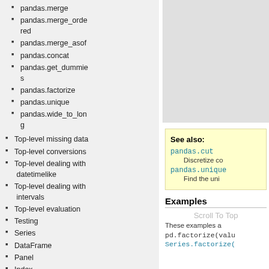pandas.merge
pandas.merge_ordered
pandas.merge_asof
pandas.concat
pandas.get_dummies
pandas.factorize
pandas.unique
pandas.wide_to_long
Top-level missing data
Top-level conversions
Top-level dealing with datetimelike
Top-level dealing with intervals
Top-level evaluation
Testing
Series
DataFrame
Panel
Index
Numeric Index
CategoricalIndex
See also:
pandas.cut — Discretize co...
pandas.unique — Find the uni...
Examples
Scroll To Top
These examples a...
pd.factorize(valu...
Series.factorize(